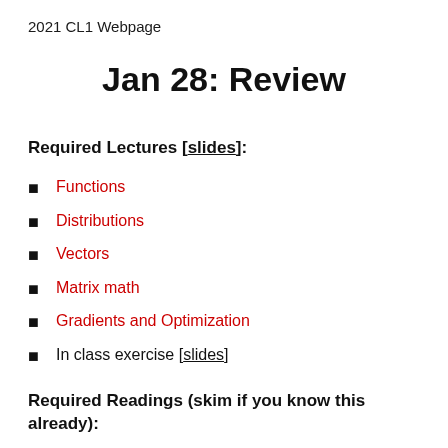2021 CL1 Webpage
Jan 28: Review
Required Lectures [slides]:
Functions
Distributions
Vectors
Matrix math
Gradients and Optimization
In class exercise [slides]
Required Readings (skim if you know this already):